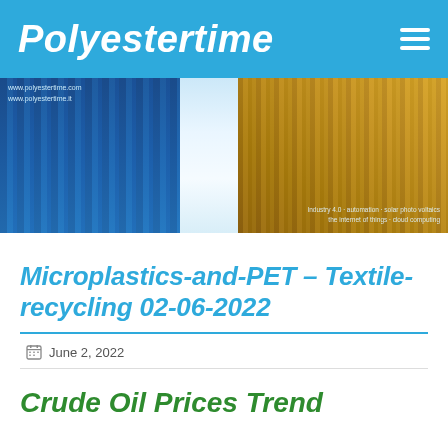Polyestertime
[Figure (photo): Banner image showing two glass skyscraper buildings against a blue sky with a bright sun flare between them. URLs www.polyestertime.com and www.polyestertime.it visible top left. Tagline about Industry 4.0, automation, solar photovoltaics, Internet of Things, cloud computing bottom right.]
Microplastics-and-PET – Textile-recycling 02-06-2022
June 2, 2022
Crude Oil Prices Trend